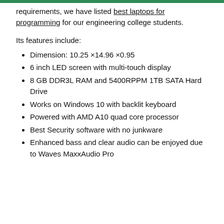requirements, we have listed best laptops for programming for our engineering college students.
Its features include:
Dimension: 10.25 ×14.96 ×0.95
6 inch LED screen with multi-touch display
8 GB DDR3L RAM and 5400RPPM 1TB SATA Hard Drive
Works on Windows 10 with backlit keyboard
Powered with AMD A10 quad core processor
Best Security software with no junkware
Enhanced bass and clear audio can be enjoyed due to Waves MaxxAudio Pro